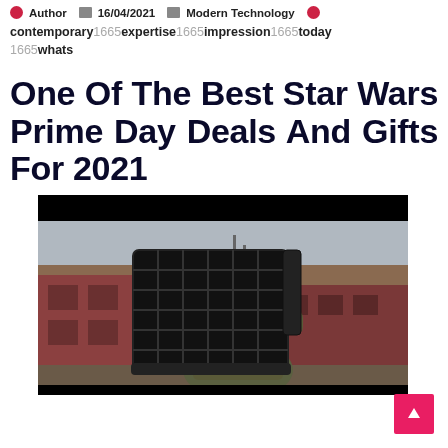Author  16/04/2021  Modern Technology
contemporary 1665 expertise 1665 impression 1665 today 1665 whats
One Of The Best Star Wars Prime Day Deals And Gifts For 2021
[Figure (photo): Military soldier in combat gear holding a large black grid-frame device, standing outdoors in front of a brick building, overcast sky.]